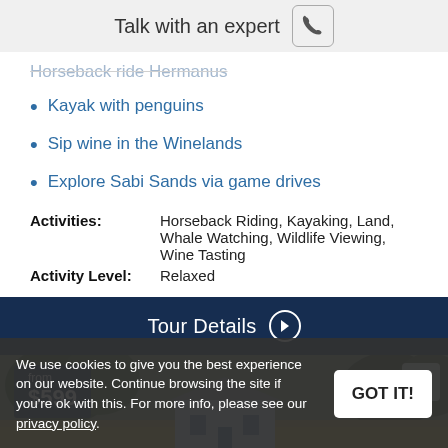Talk with an expert
Horseback ride Hermanus
Kayak with penguins
Sip wine in the Winelands
Explore Sabi Sands via game drives
Activities: Horseback Riding, Kayaking, Land, Whale Watching, Wildlife Viewing, Wine Tasting
Activity Level: Relaxed
Tour Details
[Figure (photo): Landscape photo showing a white Cape Dutch style farmhouse surrounded by trees and dry grassland, with price badge showing from $599]
We use cookies to give you the best experience on our website. Continue browsing the site if you're ok with this. For more info, please see our privacy policy.